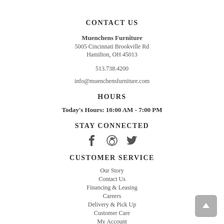CONTACT US
Muenchens Furniture
5005 Cincinnati Brookville Rd
Hamilton, OH 45013
513.738.4200
info@muenchensfurniture.com
HOURS
Today's Hours: 10:00 AM - 7:00 PM
STAY CONNECTED
[Figure (other): Social media icons: Facebook, Pinterest, Twitter]
CUSTOMER SERVICE
Our Story
Contact Us
Financing & Leasing
Careers
Delivery & Pick Up
Customer Care
My Account